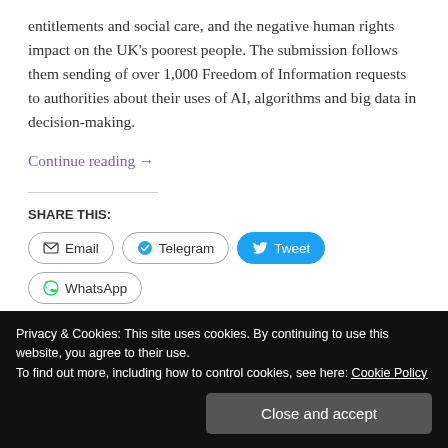entitlements and social care, and the negative human rights impact on the UK's poorest people. The submission follows them sending of over 1,000 Freedom of Information requests to authorities about their uses of AI, algorithms and big data in decision-making.
Continue reading →
SHARE THIS:
Email
Telegram
Tweet
WhatsApp
More
Privacy & Cookies: This site uses cookies. By continuing to use this website, you agree to their use. To find out more, including how to control cookies, see here: Cookie Policy
Close and accept